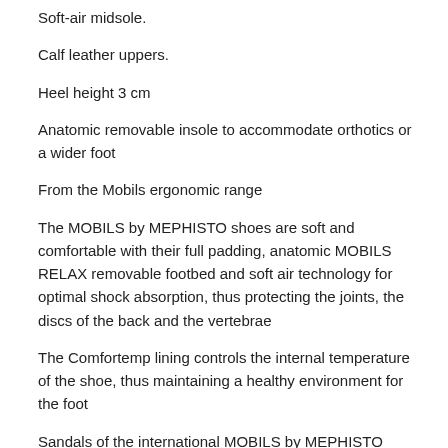Soft-air midsole.
Calf leather uppers.
Heel height 3 cm
Anatomic removable insole to accommodate orthotics or a wider foot
From the Mobils ergonomic range
The MOBILS by MEPHISTO shoes are soft and comfortable with their full padding, anatomic MOBILS RELAX removable footbed and soft air technology for optimal shock absorption, thus protecting the joints, the discs of the back and the vertebrae
The Comfortemp lining controls the internal temperature of the shoe, thus maintaining a healthy environment for the foot
Sandals of the international MOBILS by MEPHISTO collection are the result of extensive labor and research to guarantee the best possible walk ever!